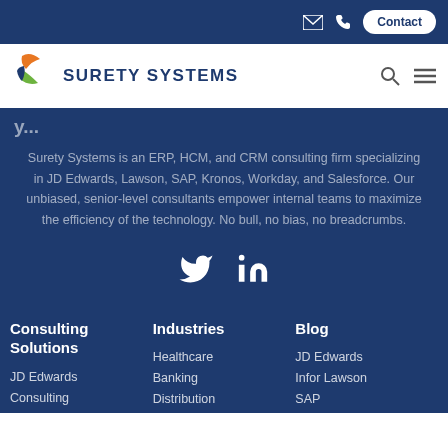Contact
[Figure (logo): Surety Systems logo with orange and green paint brush icon and dark blue text]
Surety Systems is an ERP, HCM, and CRM consulting firm specializing in JD Edwards, Lawson, SAP, Kronos, Workday, and Salesforce. Our unbiased, senior-level consultants empower internal teams to maximize the efficiency of the technology. No bull, no bias, no breadcrumbs.
[Figure (other): Twitter and LinkedIn social media icons in white]
Consulting Solutions
Industries
Blog
JD Edwards Consulting
Healthcare
Banking
Distribution
JD Edwards
Infor Lawson
SAP